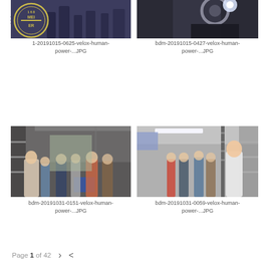[Figure (photo): Top-left photo, partially cropped, dark workshop/event scene with people, overlaid with circular Meier photography logo]
1-20191015-0625-velox-human-power-...JPG
[Figure (photo): Top-right photo, partially cropped, dark technical/machine scene]
bdm-20191015-0427-velox-human-power-...JPG
[Figure (photo): Bottom-left photo, workshop interior with group of people standing, woman in foreground on left]
bdm-20191031-0151-velox-human-power-...JPG
[Figure (photo): Bottom-right photo, bright workshop/lab with group of people, woman speaking on right]
bdm-20191031-0059-velox-human-power-...JPG
Page 1 of 42